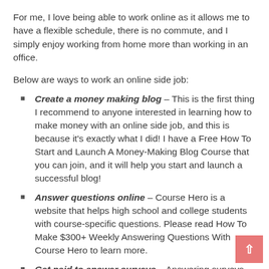For me, I love being able to work online as it allows me to have a flexible schedule, there is no commute, and I simply enjoy working from home more than working in an office.
Below are ways to work an online side job:
Create a money making blog – This is the first thing I recommend to anyone interested in learning how to make money with an online side job, and this is because it's exactly what I did! I have a Free How To Start and Launch A Money-Making Blog Course that you can join, and it will help you start and launch a successful blog!
Answer questions online – Course Hero is a website that helps high school and college students with course-specific questions. Please read How To Make $300+ Weekly Answering Questions With Course Hero to learn more.
Get paid to answer surveys – Answering surveys online won't make you rich, but it is one of the easiest ways to earn extra money online. Even though it's a small amount of money, you can put it towards your debt payoff or savings goals. Survey companies I recommend include American